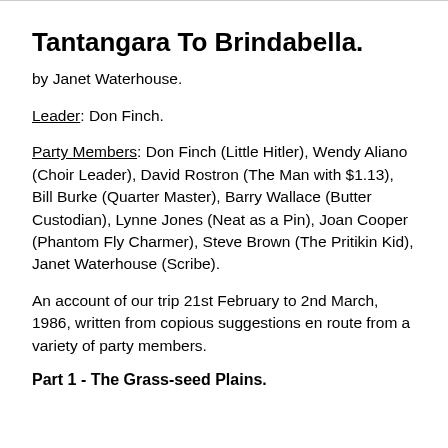Tantangara To Brindabella.
by Janet Waterhouse.
Leader: Don Finch.
Party Members: Don Finch (Little Hitler), Wendy Aliano (Choir Leader), David Rostron (The Man with $1.13), Bill Burke (Quarter Master), Barry Wallace (Butter Custodian), Lynne Jones (Neat as a Pin), Joan Cooper (Phantom Fly Charmer), Steve Brown (The Pritikin Kid), Janet Waterhouse (Scribe).
An account of our trip 21st February to 2nd March, 1986, written from copious suggestions en route from a variety of party members.
Part 1 - The Grass-seed Plains.